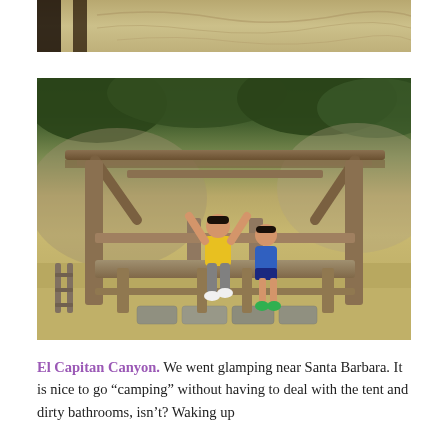[Figure (photo): Top cropped portion of a sandy landscape photo, partially visible]
[Figure (photo): Two young boys sitting under a rustic wooden shelter/bench structure at El Capitan Canyon campground. One boy in yellow shirt has arms raised, another in blue shirt sits calmly. Trees and rocky hillside in background.]
El Capitan Canyon. We went glamping near Santa Barbara. It is nice to go "camping" without having to deal with the tent and dirty bathrooms, isn't? Waking up